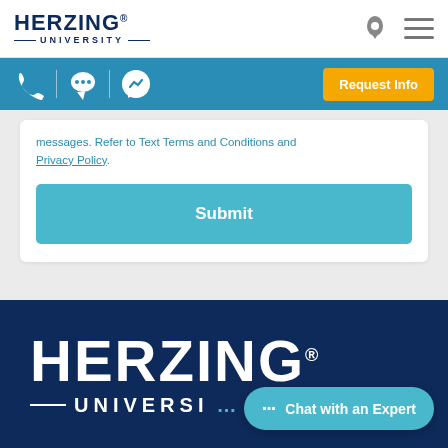[Figure (logo): Herzing University logo in dark blue, top-left navigation bar]
[Figure (screenshot): Navigation icons: location pin and hamburger menu in gray]
[Figure (screenshot): Blue action bar with phone icon, chat icon, messenger icon, and orange Request Info button]
messages. Refer to Text Terms and Conditions and Privacy Policy.
[Figure (screenshot): Light blue Submit button]
[Figure (logo): Herzing University large white logo on dark navy footer background]
[Figure (screenshot): Chat with an Expert button in teal at bottom right]